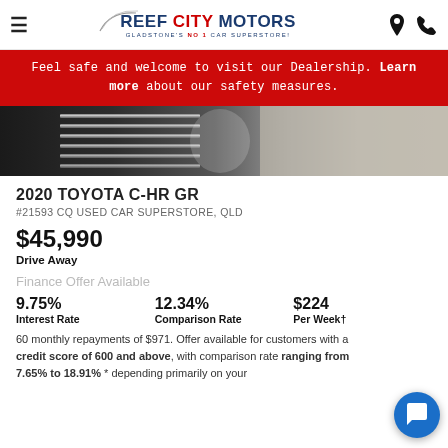Reef City Motors — Gladstone's No 1 Car Superstore
Feel safe and welcome to visit our Dealership. Learn more about our safety measures.
[Figure (photo): Close-up photo of a car grille/body detail showing chrome trim against sandy/beige background]
2020 TOYOTA C-HR GR
#21593 CQ USED CAR SUPERSTORE, QLD
$45,990
Drive Away
Finance Offer Available
9.75% Interest Rate   12.34% Comparison Rate   $224 Per Week†
60 monthly repayments of $971. Offer available for customers with a credit score of 600 and above, with comparison rate ranging from 7.65% to 18.91% * depending primarily on your